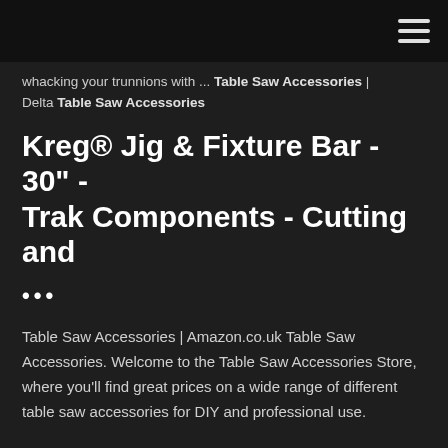whacking your trunnions with ... Table Saw Accessories | Delta Table Saw Accessories
Kreg® Jig & Fixture Bar - 30" - Trak Components - Cutting and
...
Table Saw Accessories | Amazon.co.uk Table Saw Accessories. Welcome to the Table Saw Accessories Store, where you'll find great prices on a wide range of different table saw accessories for DIY and professional use.